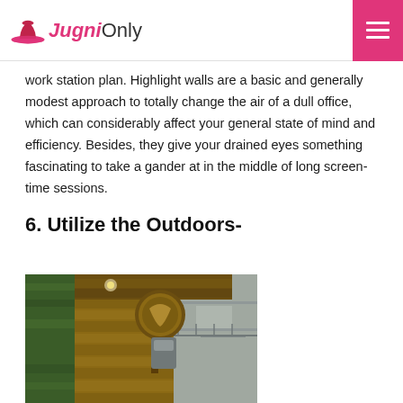Jugni Only
work station plan. Highlight walls are a basic and generally modest approach to totally change the air of a dull office, which can considerably affect your general state of mind and efficiency. Besides, they give your drained eyes something fascinating to take a gander at in the middle of long screen-time sessions.
6. Utilize the Outdoors-
[Figure (photo): Outdoor building exterior with wooden planks, green moss/plant wall on the left, and a decorative circular sign mounted on a post. Background shows a grey building with railings.]